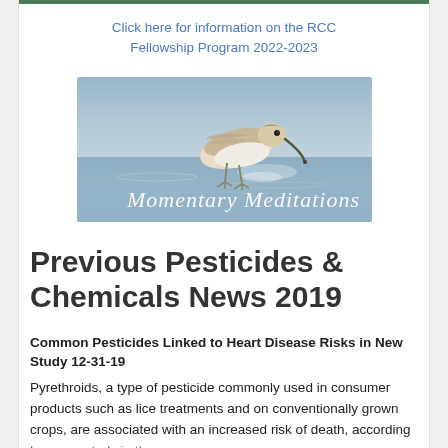Click here for information on the RCC Fellowship Program 2022-2023
[Figure (photo): A sandpiper bird foraging at the water's edge with text overlay reading 'Momentary Meditations' in cursive script]
Previous Pesticides & Chemicals News 2019
Common Pesticides Linked to Heart Disease Risks in New Study 12-31-19
Pyrethroids, a type of pesticide commonly used in consumer products such as lice treatments and on conventionally grown crops, are associated with an increased risk of death, according to a new study in the